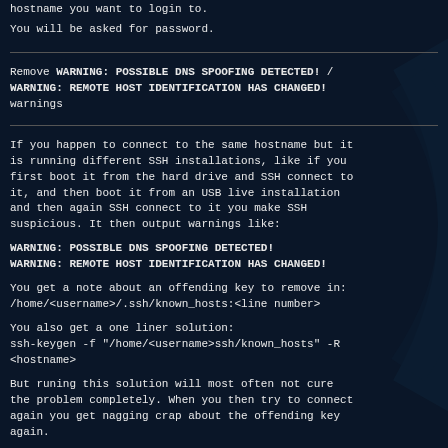hostname you want to login to.
You will be asked for password.
Remove WARNING: POSSIBLE DNS SPOOFING DETECTED! / WARNING: REMOTE HOST IDENTIFICATION HAS CHANGED! warnings
If you happen to connect to the same hostname but it is running different SSH installations, like if you first boot it from the hard drive and SSH connect to it, and then boot it from an USB live installation and then again SSH connect to it you make SSH suspicious. It then output warnings like:
WARNING: POSSIBLE DNS SPOOFING DETECTED!
WARNING: REMOTE HOST IDENTIFICATION HAS CHANGED!
You get a note about an offending key to remove in:
/home/<username>/.ssh/known_hosts:<line number>
You also get a one liner solution:
ssh-keygen -f "/home/<username>ssh/known_hosts" -R
<hostname>
But runing this solution will most often not cure the problem completely. When you then try to connect again you get nagging crap about the offending key again.